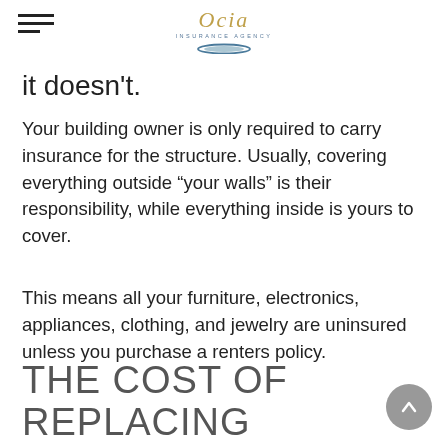Ocia Insurance Agency
it doesn't.
Your building owner is only required to carry insurance for the structure. Usually, covering everything outside “your walls” is their responsibility, while everything inside is yours to cover.
This means all your furniture, electronics, appliances, clothing, and jewelry are uninsured unless you purchase a renters policy.
THE COST OF REPLACING